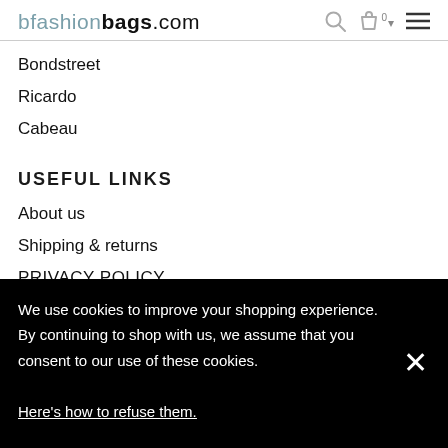bfashionbags.com
Bondstreet
Ricardo
Cabeau
USEFUL LINKS
About us
Shipping & returns
PRIVACY POLICY
We use cookies to improve your shopping experience. By continuing to shop with us, we assume that you consent to our use of these cookies. Here's how to refuse them.